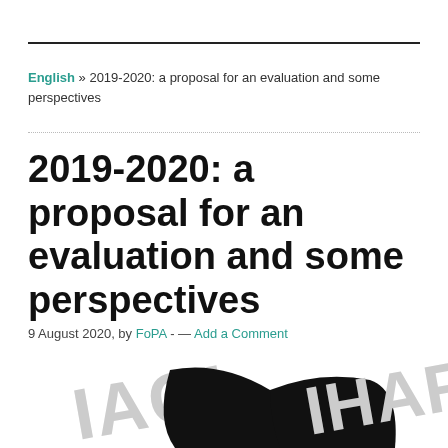English » 2019-2020: a proposal for an evaluation and some perspectives
2019-2020: a proposal for an evaluation and some perspectives
9 August 2020, by FoPA -  —  Add a Comment
[Figure (logo): Partial FoPA organization logo in black and white with large stylized letters visible at bottom of page]